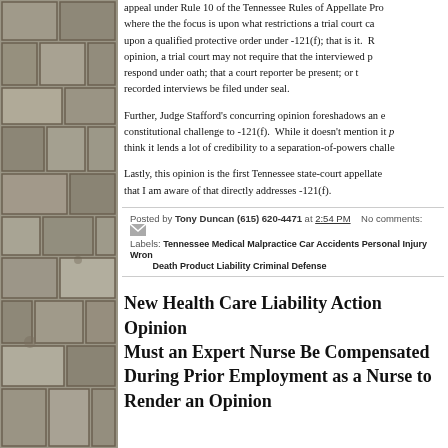[Figure (photo): Stone wall texture sidebar on the left side of the page]
appeal under Rule 10 of the Tennessee Rules of Appellate Pro... where the the focus is upon what restrictions a trial court ca... upon a qualified protective order under -121(f); that is it. R... opinion, a trial court may not require that the interviewed p... respond under oath; that a court reporter be present; or t... recorded interviews be filed under seal.
Further, Judge Stafford's concurring opinion foreshadows an e... constitutional challenge to -121(f). While it doesn't mention it p... think it lends a lot of credibility to a separation-of-powers challe...
Lastly, this opinion is the first Tennessee state-court appellate... that I am aware of that directly addresses -121(f).
Posted by Tony Duncan (615) 620-4471 at 2:54 PM   No comments:   Labels: Tennessee Medical Malpractice Car Accidents Personal Injury Wrongful Death Product Liability Criminal Defense
New Health Care Liability Action Opinion — Must an Expert Nurse Be Compensated During Prior Employment as a Nurse to Render an Opinion